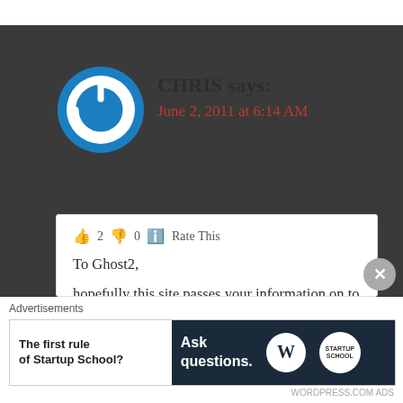CHRIS says:
June 2, 2011 at 6:14 AM
👍 2 👎 0 ℹ️ Rate This
To Ghost2,

hopefully this site passes your information on to the police. you obviously are some sort of mental case in need of help and from the sounds of things may even be capable of this cruel and inhuman behavior yourself.
Advertisements
[Figure (screenshot): Advertisement banner: left side white background with bold text 'The first rule of Startup School?', right side dark navy background with text 'Ask questions.' and WordPress and School logos]